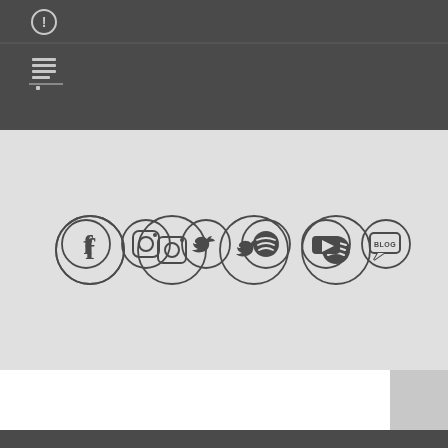[Figure (screenshot): Dark gray top navigation bar with an alert/info circle icon and a list/menu icon below a horizontal divider line]
[Figure (infographic): Light gray section containing a row of six circular social media icons: Facebook, Instagram, Twitter, Spotify, YouTube, and Blog]
[Figure (screenshot): Bottom section with white area on left and light gray area on right, with dark footer bar at bottom]